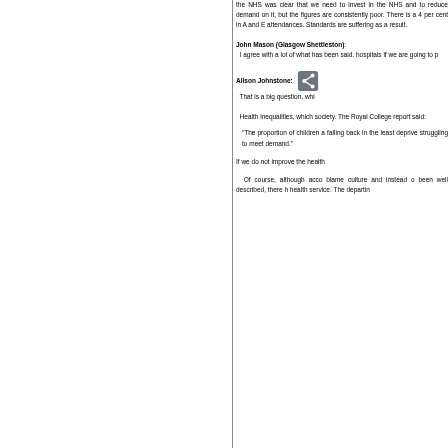the NHS was clear that we need to invest in the NHS and to reduce demand on it, but the figures are consistently poor. There is a 4 per cent in A and E attendances. Standards are suffering as a result.
John Mason (Glasgow Shettleston): I agree with a lot of what has been said. hospitals if we are going to p
Alison Johnstone: That is a big question, whi
Health inequalities, which society. The Royal College report said:
“The proportion of children a falling back in the least deprive struggling to meet demand.”
If we do not improve the health
Of course, although acco blame culture and instead o been well described, there h health service. The departin